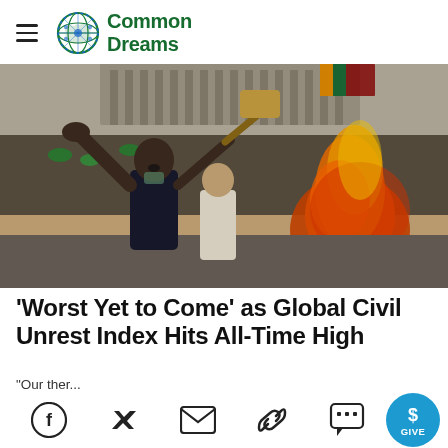Common Dreams
[Figure (photo): Protest scene with a man raising his hand in the air holding a stick, with a large fire burning behind him and a crowd in the background, in what appears to be a street near a government building with a Sri Lankan flag visible.]
'Worst Yet to Come' as Global Civil Unrest Index Hits All-Time High
"Our ther...
[Figure (infographic): Social sharing bar with Facebook, Twitter, email, link, comment icons, and a blue circular GIVE button.]